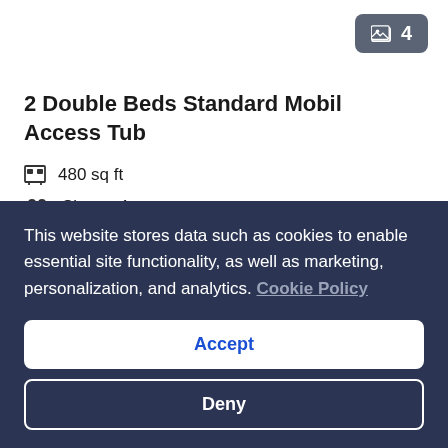[Figure (other): Image counter badge showing 4 photos available, with a photo gallery icon on a grey rounded rectangle background]
2 Double Beds Standard Mobil Access Tub
480 sq ft
Sleeps 4
2 Double Beds
More details >
Choose your dates
This website stores data such as cookies to enable essential site functionality, as well as marketing, personalization, and analytics. Cookie Policy
Accept
Deny